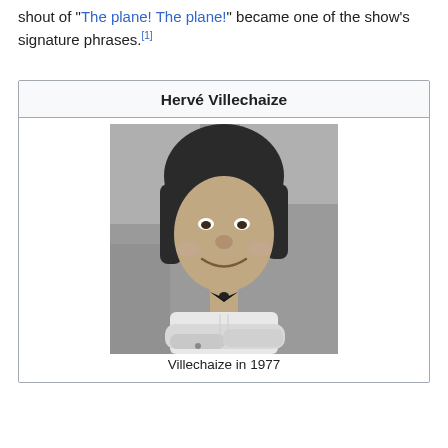shout of "The plane! The plane!" became one of the show's signature phrases.[1]
Hervé Villechaize
[Figure (photo): Black and white photograph of Hervé Villechaize in 1977, a man with dark medium-length hair wearing a white shirt and black bow tie, arms crossed, smiling at the camera with a blurred outdoor background.]
Villechaize in 1977